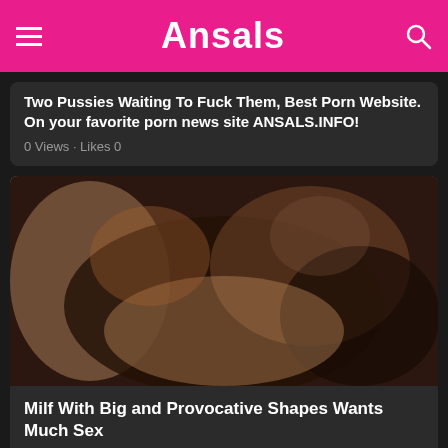Ansals
Two Pussies Waiting To Fuck Them, Best Porn Website. On your favorite porn news site ANSALS.INFO!
0 Views · Likes 0
[Figure (photo): Explicit adult content thumbnail]
Milf With Big and Provocative Shapes Wants Much Sex
View the xxx porn article: Milf With Big and Provocative Shapes Wants Much Sex, Best Porn Website. On your favorite porn news site ANSALS.INFO!
1 Views · Likes 0